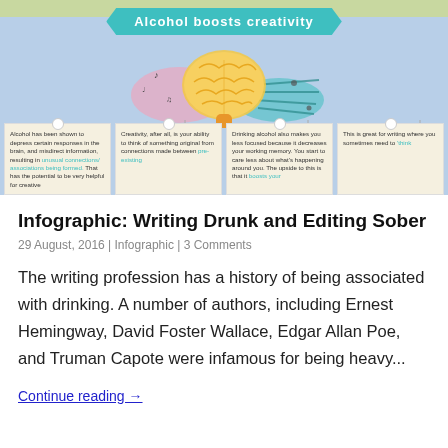[Figure (infographic): Infographic titled 'Alcohol boosts creativity' showing a brain illustration with colorful swirls and four text boxes below describing how alcohol affects creativity and writing.]
Infographic: Writing Drunk and Editing Sober
29 August, 2016 | Infographic | 3 Comments
The writing profession has a history of being associated with drinking. A number of authors, including Ernest Hemingway, David Foster Wallace, Edgar Allan Poe, and Truman Capote were infamous for being heavy...
Continue reading →